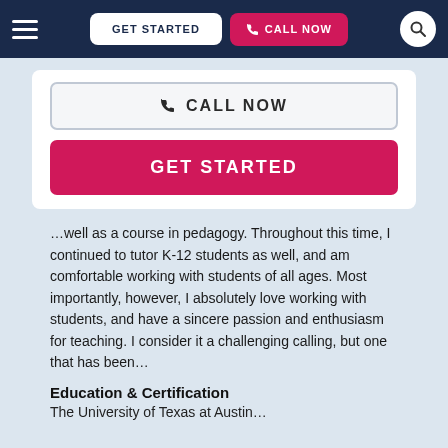GET STARTED | CALL NOW
☎ CALL NOW
GET STARTED
…well as a course in pedagogy. Throughout this time, I continued to tutor K-12 students as well, and am comfortable working with students of all ages. Most importantly, however, I absolutely love working with students, and have a sincere passion and enthusiasm for teaching. I consider it a challenging calling, but one that has been…
Education & Certification
The University of Texas at Austin...